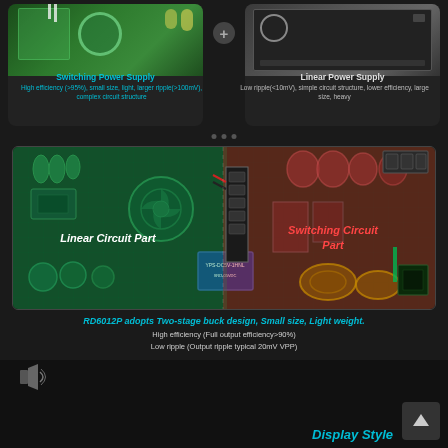[Figure (infographic): Two product comparison: Switching Power Supply (left, PCB board with cyan color theme) and Linear Power Supply (right, amplifier/equipment with white theme), with a plus icon between them]
Switching Power Supply
High efficiency (>95%), small size, light, larger ripple(>100mV), complex circuit structure
Linear Power Supply
Low ripple(<10mV), simple circuit structure, lower efficiency, large size, heavy
[Figure (photo): Circuit board photo showing two highlighted regions: green-tinted 'Linear Circuit Part' on the left half and red-tinted 'Switching Circuit Part' on the right half, with various electronic components including a fan, capacitors, connectors, and coils visible]
RD6012P adopts Two-stage buck design, Small size, Light weight.
High efficiency (Full output efficiency>90%)
Low ripple (Output ripple typical 20mV VPP)
Display Style